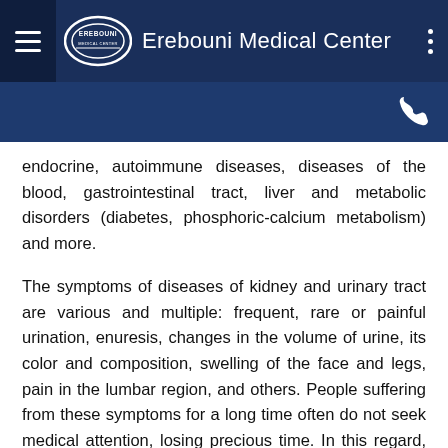Erebouni Medical Center
endocrine, autoimmune diseases, diseases of the blood, gastrointestinal tract, liver and metabolic disorders (diabetes, phosphoric-calcium metabolism) and more.
The symptoms of diseases of kidney and urinary tract are various and multiple: frequent, rare or painful urination, enuresis, changes in the volume of urine, its color and composition, swelling of the face and legs, pain in the lumbar region, and others. People suffering from these symptoms for a long time often do not seek medical attention, losing precious time. In this regard, doctors often have to contend with advanced forms of a disease of the kidneys. To avoid serious problems patients should see a nephrologist at the first symptoms to determine the correct diagnosis and start early treatment.
At the Department of Nephrology of MC Erebouni the patients with kidney diseases or pathology of kidney after some other diseases